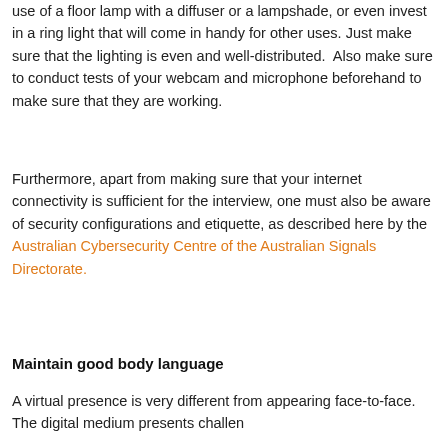use of a floor lamp with a diffuser or a lampshade, or even invest in a ring light that will come in handy for other uses. Just make sure that the lighting is even and well-distributed.  Also make sure to conduct tests of your webcam and microphone beforehand to make sure that they are working.
Furthermore, apart from making sure that your internet connectivity is sufficient for the interview, one must also be aware of security configurations and etiquette, as described here by the Australian Cybersecurity Centre of the Australian Signals Directorate.
Maintain good body language
A virtual presence is very different from appearing face-to-face. The digital medium presents challenges in conveying first impressions and showcasing...